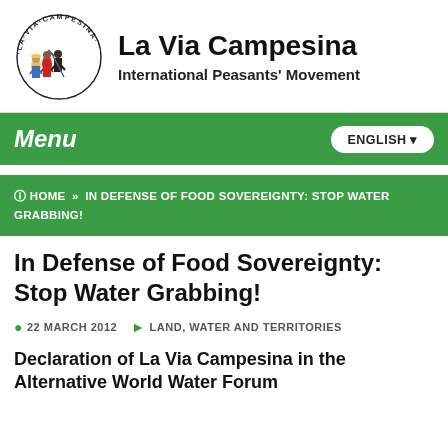[Figure (logo): La Via Campesina circular logo with illustrated peasant figures and text around the border]
La Via Campesina
International Peasants' Movement
Menu | ENGLISH
HOME » IN DEFENSE OF FOOD SOVEREIGNTY: STOP WATER GRABBING!
In Defense of Food Sovereignty: Stop Water Grabbing!
22 MARCH 2012   LAND, WATER AND TERRITORIES
Declaration of La Via Campesina in the Alternative World Water Forum